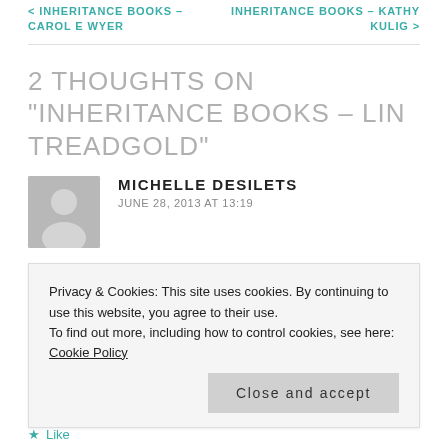< INHERITANCE BOOKS – CAROL E WYER    INHERITANCE BOOKS – KATHY KULIG >
2 THOUGHTS ON "INHERITANCE BOOKS – LIN TREADGOLD"
MICHELLE DESILETS
JUNE 28, 2013 AT 13:19
Privacy & Cookies: This site uses cookies. By continuing to use this website, you agree to their use.
To find out more, including how to control cookies, see here: Cookie Policy
Close and accept
Like